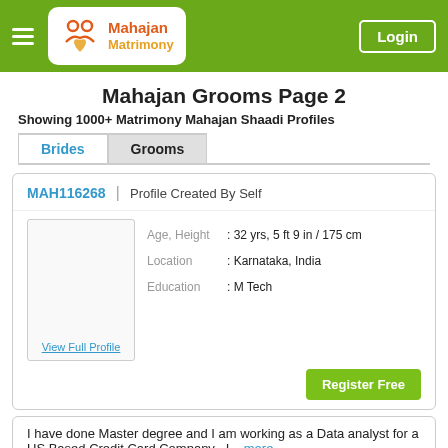Mahajan Matrimony — Login
Mahajan Grooms Page 2
Showing 1000+ Matrimony Mahajan Shaadi Profiles
Brides | Grooms (tabs)
MAH116268 | Profile Created By Self
| Field | Value |
| --- | --- |
| Age, Height | : 32 yrs, 5 ft 9 in / 175 cm |
| Location | : Karnataka, India |
| Education | : M Tech |
View Full Profile
Register Free
I have done Master degree and I am working as a Data analyst for a US Based Credit Card Company . I... more